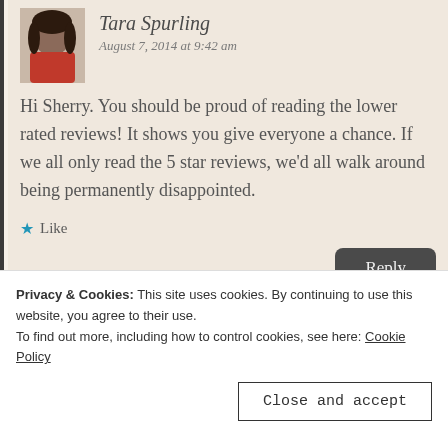Tara Spurling
August 7, 2014 at 9:42 am
Hi Sherry. You should be proud of reading the lower rated reviews! It shows you give everyone a chance. If we all only read the 5 star reviews, we'd all walk around being permanently disappointed.
★ Like
Reply
Privacy & Cookies: This site uses cookies. By continuing to use this website, you agree to their use.
To find out more, including how to control cookies, see here: Cookie Policy
Close and accept